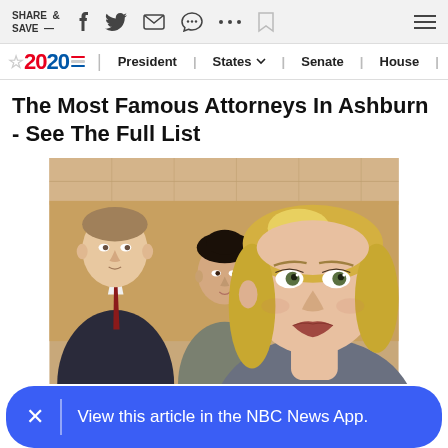SHARE & SAVE —  [toolbar icons: facebook, twitter, mail, message, more, bookmark, menu]
2020 | President | States | Senate | House | 2022 Midterms
The Most Famous Attorneys In Ashburn - See The Full List
[Figure (photo): Three attorneys in a courtroom setting. A blonde woman in the foreground looking forward seriously, a dark-haired woman in the middle background, and a man in a dark suit with a red tie on the left background.]
View this article in the NBC News App.